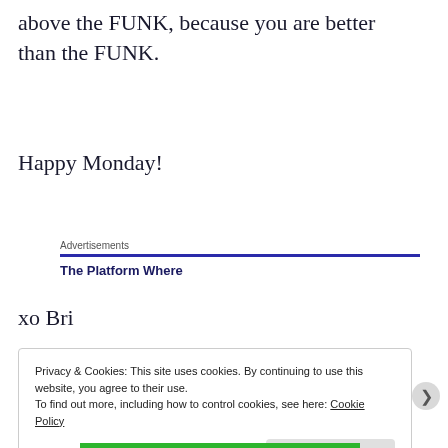above the FUNK, because you are better than the FUNK.
Happy Monday!
Advertisements
The Platform Where
xo Bri
Privacy & Cookies: This site uses cookies. By continuing to use this website, you agree to their use.
To find out more, including how to control cookies, see here: Cookie Policy
Close and accept